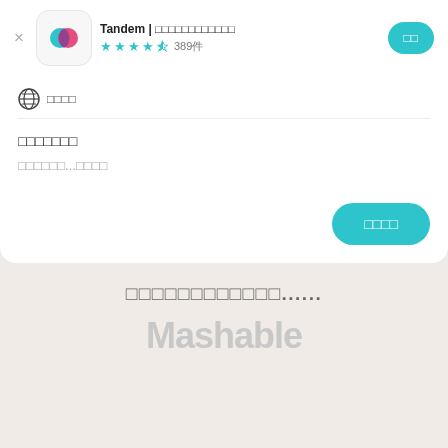[Figure (screenshot): Tandem app store listing screenshot showing app icon with teal and pink overlapping speech bubbles, app title 'Tandem | [CJK characters]', 4.5 star rating with 389 reviews, install button, a review card with globe icon, review title and body in CJK characters, a 'more' button, and partial Mashable logo at bottom]
Tandem | [app name in CJK] ★★★★½ 389件
[CJK category text]
[CJK review title]
[CJK review body]....[CJK text]
[CJK bottom text]......
Mashable